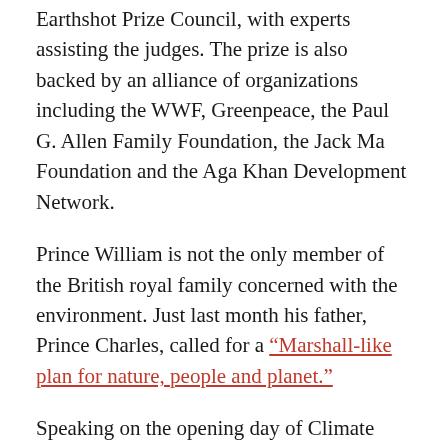Earthshot Prize Council, with experts assisting the judges. The prize is also backed by an alliance of organizations including the WWF, Greenpeace, the Paul G. Allen Family Foundation, the Jack Ma Foundation and the Aga Khan Development Network.
Prince William is not the only member of the British royal family concerned with the environment. Just last month his father, Prince Charles, called for a “Marshall-like plan for nature, people and planet.”
Speaking on the opening day of Climate Week NYC, the heir apparent to the British throne said: “The borderless climate, biodiversity and health crises are all symptoms of a planet that has been pushed beyond its planetary boundaries.”